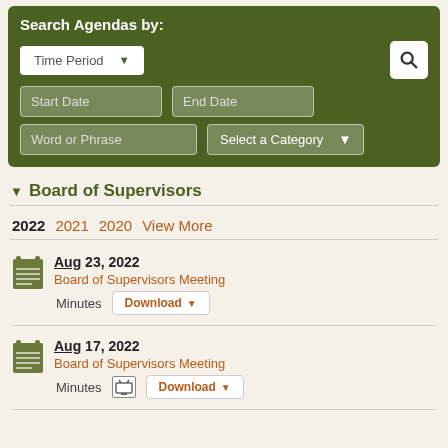Search Agendas by:
Time Period (dropdown) | Search button | Start Date | End Date | Word or Phrase | Select a Category (dropdown)
Board of Supervisors
2022  2021  2020  View More
Aug 23, 2022
Board of Supervisors Meeting
Minutes  Download
Aug 17, 2022
Board of Supervisors Meeting
Minutes  Download